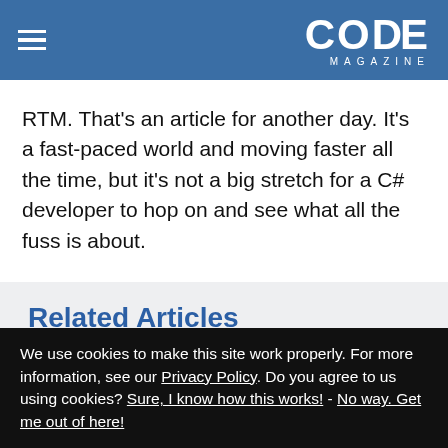CODE MAGAZINE
RTM. That's an article for another day. It's a fast-paced world and moving faster all the time, but it's not a big stretch for a C# developer to hop on and see what all the fuss is about.
Related Articles
Data in Cloud Applications
Using WebJobs for Event-Driven,
We use cookies to make this site work properly. For more information, see our Privacy Policy. Do you agree to us using cookies? Sure, I know how this works! - No way. Get me out of here!